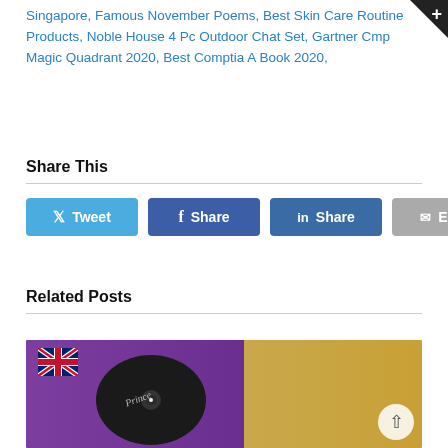Singapore, Famous November Poems, Best Skin Care Routine Products, Noble House 4 Pc Outdoor Chat Set, Gartner Cmp Magic Quadrant 2020, Best Comptia A Book 2020,
Share This
[Figure (infographic): Social share buttons: Tweet (Twitter, light blue), Share (Facebook, dark blue), Share (LinkedIn, dark blue), Email (grey)]
Related Posts
[Figure (photo): A framed vinyl record with a UK flag in the upper left corner, purple background, vinyl disc with script signature, gold background on right side.]